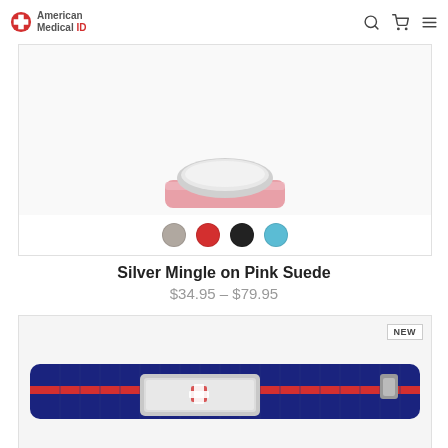American Medical ID — navigation bar with logo, search, cart, and menu icons
[Figure (photo): Top portion of a silver medical ID bracelet on a pink suede band, showing color swatch dots: gray, red, black, teal]
Silver Mingle on Pink Suede
$34.95 – $79.95
[Figure (photo): NEW badge product card showing a navy and red striped nylon band medical ID bracelet with a silver rectangular ID plate]